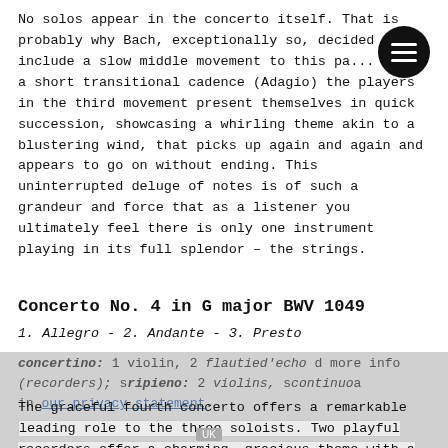No solos appear in the concerto itself. That is probably why Bach, exceptionally so, decided to include a slow middle movement to this pa... After a short transitional cadence (Adagio) the players in the third movement present themselves in quick succession, showcasing a whirling theme akin to a blustering wind, that picks up again and again and appears to go on without ending. This uninterrupted deluge of notes is of such a grandeur and force that as a listener you ultimately feel there is only one instrument playing in its full splendor – the strings.
Concerto No. 4 in G major BWV 1049
1. Allegro - 2. Andante - 3. Presto
concertino: 1 violin, 2 flautied'echo (recorders); ripieno: 2 violins; continuo
The graceful fourth concerto offers a remarkable leading role to the three soloists. Two playful recorders offer a charming, gracious theme with a light-footed dance-like character in 3/8 measure